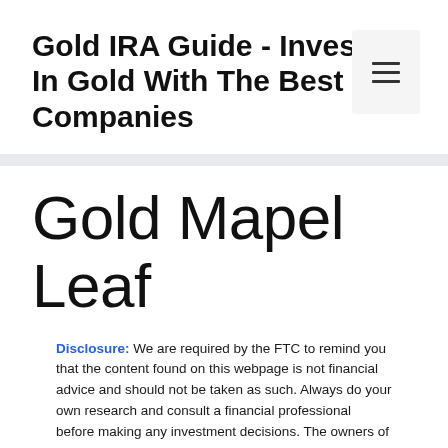Gold IRA Guide - Invest In Gold With The Best Companies
[Figure (other): Hamburger menu button icon with three horizontal lines]
Gold Mapel Leaf
Disclosure: We are required by the FTC to remind you that the content found on this webpage is not financial advice and should not be taken as such. Always do your own research and consult a financial professional before making any investment decisions. The owners of this website may be compensated by Goldco and/or any